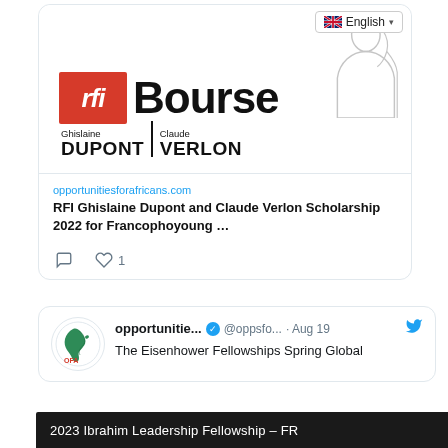[Figure (screenshot): Twitter/social media feed screenshot showing RFI Bourse Ghislaine Dupont and Claude Verlon scholarship tweet with link preview and OFA logo, English language selector, like and comment icons, and a second tweet about Eisenhower Fellowships Spring Global]
English
opportunitiesforafricans.com
RFI Ghislaine Dupont and Claude Verlon Scholarship 2022 for Francophoyoung …
opportunitie... @oppsfo... · Aug 19
The Eisenhower Fellowships Spring Global
2023 Ibrahim Leadership Fellowship – FR